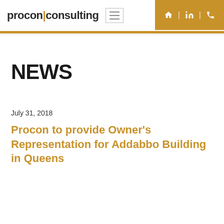procon:consulting
NEWS
July 31, 2018
Procon to provide Owner's Representation for Addabbo Building in Queens